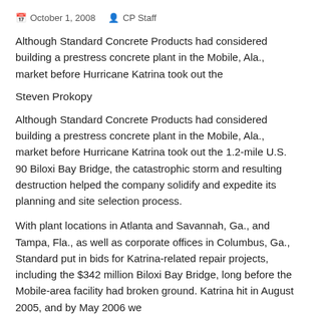October 1, 2008   CP Staff
Although Standard Concrete Products had considered building a prestress concrete plant in the Mobile, Ala., market before Hurricane Katrina took out the
Steven Prokopy
Although Standard Concrete Products had considered building a prestress concrete plant in the Mobile, Ala., market before Hurricane Katrina took out the 1.2-mile U.S. 90 Biloxi Bay Bridge, the catastrophic storm and resulting destruction helped the company solidify and expedite its planning and site selection process.
With plant locations in Atlanta and Savannah, Ga., and Tampa, Fla., as well as corporate offices in Columbus, Ga., Standard put in bids for Katrina-related repair projects, including the $342 million Biloxi Bay Bridge, long before the Mobile-area facility had broken ground. Katrina hit in August 2005, and by May 2006 we